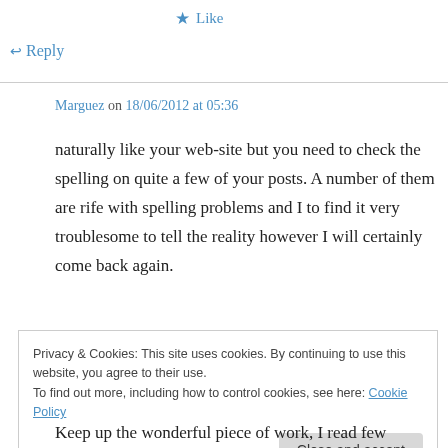★ Like
↵ Reply
Marguez on 18/06/2012 at 05:36
naturally like your web-site but you need to check the spelling on quite a few of your posts. A number of them are rife with spelling problems and I to find it very troublesome to tell the reality however I will certainly come back again.
Privacy & Cookies: This site uses cookies. By continuing to use this website, you agree to their use.
To find out more, including how to control cookies, see here: Cookie Policy
Close and accept
Keep up the wonderful piece of work, I read few